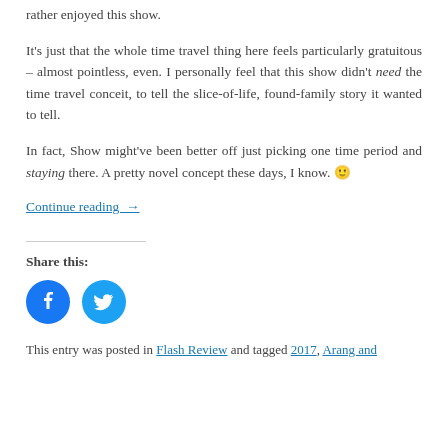rather enjoyed this show.
It's just that the whole time travel thing here feels particularly gratuitous – almost pointless, even. I personally feel that this show didn't need the time travel conceit, to tell the slice-of-life, found-family story it wanted to tell.
In fact, Show might've been better off just picking one time period and staying there. A pretty novel concept these days, I know. 😊
Continue reading →
Share this:
[Figure (other): Facebook and Twitter social share icon buttons (circular blue icons)]
This entry was posted in Flash Review and tagged 2017, Arang and